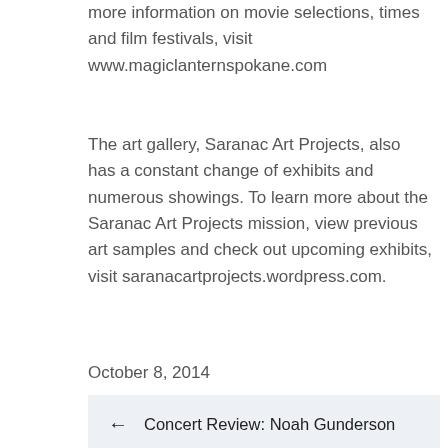more information on movie selections, times and film festivals, visit www.magiclanternspokane.com
The art gallery, Saranac Art Projects, also has a constant change of exhibits and numerous showings. To learn more about the Saranac Art Projects mission, view previous art samples and check out upcoming exhibits, visit saranacartprojects.wordpress.com.
October 8, 2014
← Concert Review: Noah Gunderson
Sister Outsider duo performs edifying →